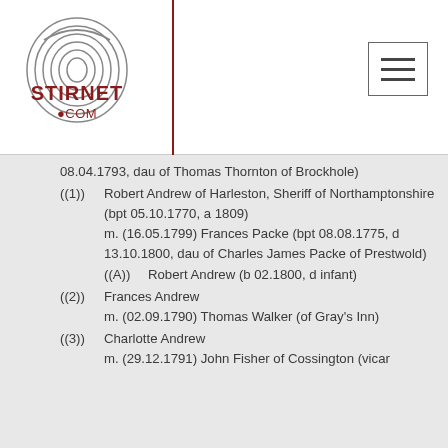Stirnet.com logo and navigation
08.04.1793, dau of Thomas Thornton of Brockhole)
((1)) Robert Andrew of Harleston, Sheriff of Northamptonshire (bpt 05.10.1770, a 1809)
m. (16.05.1799) Frances Packe (bpt 08.08.1775, d 13.10.1800, dau of Charles James Packe of Prestwold)
((A)) Robert Andrew (b 02.1800, d infant)
((2)) Frances Andrew
m. (02.09.1790) Thomas Walker (of Gray's Inn)
((3)) Charlotte Andrew
m. (29.12.1791) John Fisher of Cossington (vicar